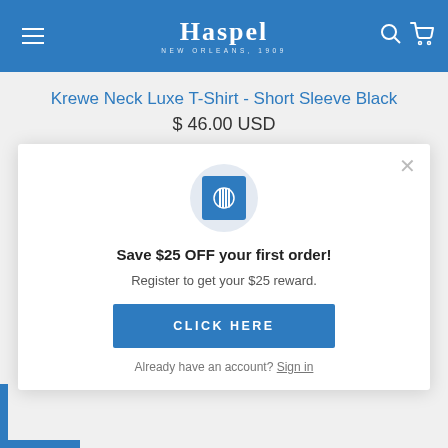Haspel — New Orleans, 1909
Krewe Neck Luxe T-Shirt - Short Sleeve Black
$ 46.00 USD
[Figure (screenshot): Haspel logo icon: blue square with white barcode/striped circle symbol]
Save $25 OFF your first order!
Register to get your $25 reward.
CLICK HERE
Already have an account? Sign in